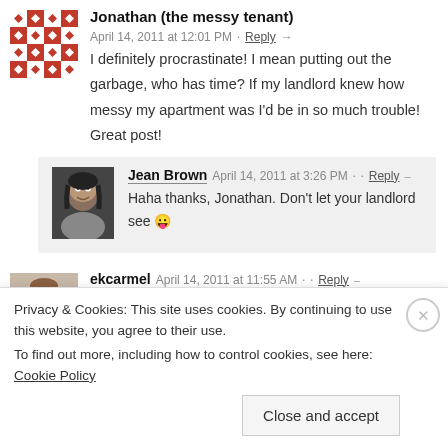Jonathan (the messy tenant)  April 14, 2011 at 12:01 PM · Reply →
I definitely procrastinate! I mean putting out the garbage, who has time? If my landlord knew how messy my apartment was I'd be in so much trouble! Great post!
Jean Brown  April 14, 2011 at 3:26 PM · · Reply –
Haha thanks, Jonathan. Don't let your landlord see 😛
ekcarmel  April 14, 2011 at 11:55 AM · · Reply –
Oh yeah – Perfectionism and Procrastination (notice the capitals!) have been eating at me for years. I used to be proud of my
Privacy & Cookies: This site uses cookies. By continuing to use this website, you agree to their use.
To find out more, including how to control cookies, see here: Cookie Policy
Close and accept